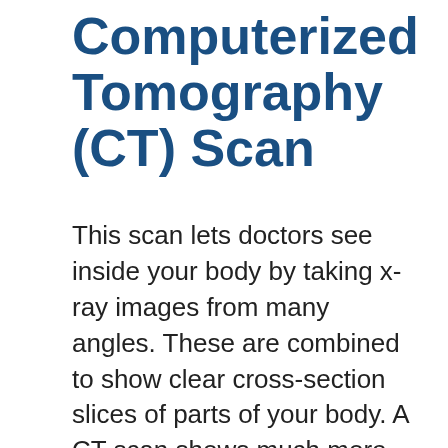Computerized Tomography (CT) Scan
This scan lets doctors see inside your body by taking x-ray images from many angles. These are combined to show clear cross-section slices of parts of your body. A CT scan shows much more than a typical x-ray. It can show cancer and other problems. If we need this test to assess your condition we'll send you to one of our preferred diagnostics partners so that we get the best insights into your condition.